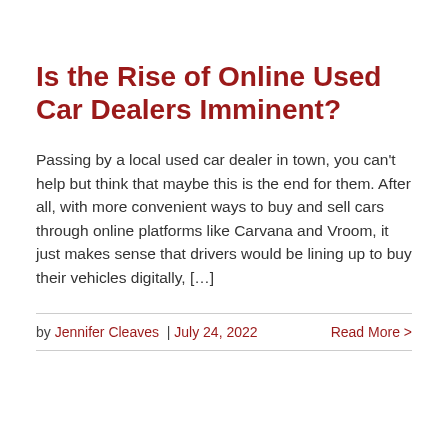Is the Rise of Online Used Car Dealers Imminent?
Passing by a local used car dealer in town, you can't help but think that maybe this is the end for them. After all, with more convenient ways to buy and sell cars through online platforms like Carvana and Vroom, it just makes sense that drivers would be lining up to buy their vehicles digitally, […]
by Jennifer Cleaves | July 24, 2022   Read More >